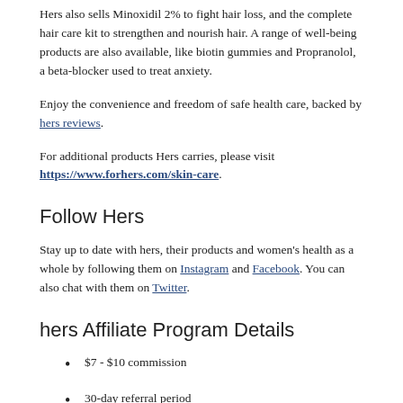Hers also sells Minoxidil 2% to fight hair loss, and the complete hair care kit to strengthen and nourish hair. A range of well-being products are also available, like biotin gummies and Propranolol, a beta-blocker used to treat anxiety.
Enjoy the convenience and freedom of safe health care, backed by hers reviews.
For additional products Hers carries, please visit https://www.forhers.com/skin-care.
Follow Hers
Stay up to date with hers, their products and women's health as a whole by following them on Instagram and Facebook. You can also chat with them on Twitter.
hers Affiliate Program Details
$7 - $10 commission
30-day referral period